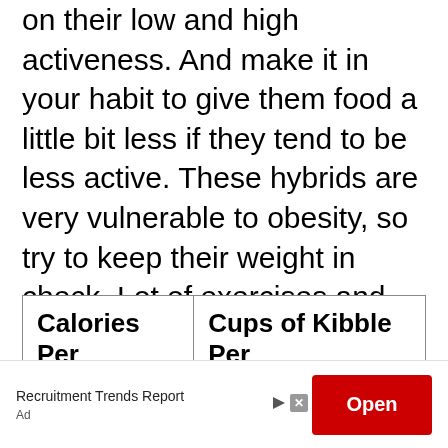on their low and high activeness. And make it in your habit to give them food a little bit less if they tend to be less active. These hybrids are very vulnerable to obesity, so try to keep their weight in check. Lot of exercises and other activities overheat the dog's body quickly. So make sure to supply a lot of water to ensure that they stay hydrated at the time of exercise.
| Calories Per Day: | Cups of Kibble Per Day: |
| --- | --- |
Recruitment Trends Report
Ad